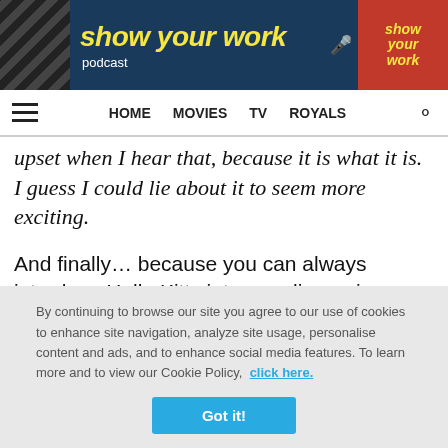[Figure (screenshot): Show Your Work podcast banner advertisement with diagonal stripes on left, yellow italic title text, microphone icons, and red logo on right]
HOME  MOVIES  TV  ROYALS
upset when I hear that, because it is what it is. I guess I could lie about it to seem more exciting.
And finally... because you can always introduce Hello Kitty into any discussion:
By continuing to browse our site you agree to our use of cookies to enhance site navigation, analyze site usage, personalise content and ads, and to enhance social media features. To learn more and to view our Cookie Policy, click here.